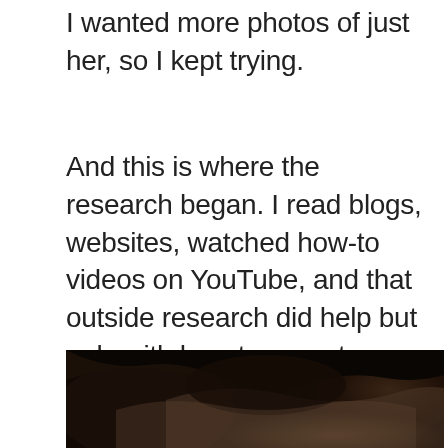I wanted more photos of just her, so I kept trying.
And this is where the research began. I read blogs, websites, watched how-to videos on YouTube, and that outside research did help but only with how to operate my specific camera.  I still didn't understand how all those pieces came together.
[Figure (photo): Close-up photograph from above of a person with dark hair, partially visible, dark moody tones]